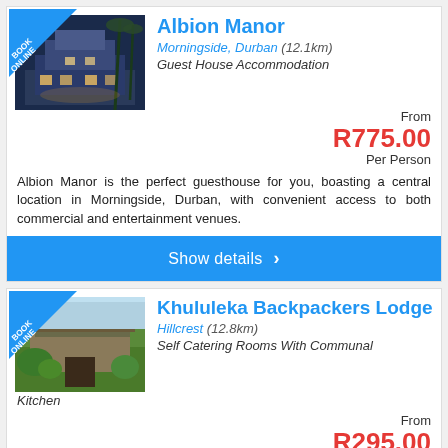[Figure (photo): Albion Manor guesthouse exterior at night with BOOK ONLINE badge]
Albion Manor
Morningside, Durban (12.1km)
Guest House Accommodation
From R775.00 Per Person
Albion Manor is the perfect guesthouse for you, boasting a central location in Morningside, Durban, with convenient access to both commercial and entertainment venues.
Show details >
[Figure (photo): Khululeka Backpackers Lodge exterior with garden and BOOK ONLINE badge]
Khululeka Backpackers Lodge
Hillcrest (12.8km)
Self Catering Rooms With Communal Kitchen
From R295.00 Per Person